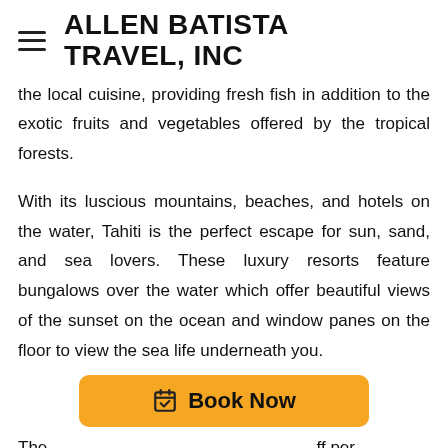ALLEN BATISTA TRAVEL, INC
the local cuisine, providing fresh fish in addition to the exotic fruits and vegetables offered by the tropical forests.
With its luscious mountains, beaches, and hotels on the water, Tahiti is the perfect escape for sun, sand, and sea lovers. These luxury resorts feature bungalows over the water which offer beautiful views of the sunset on the ocean and window panes on the floor to view the sea life underneath you.
[Figure (other): Book Now button with calendar icon in orange/amber color]
The [partially obscured] ff per [line cut off]